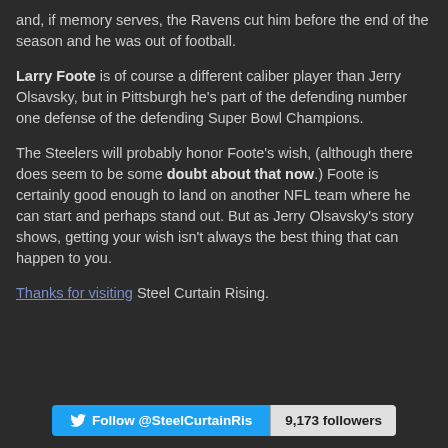and, if memory serves, the Ravens cut him before the end of the season and he was out of football.
Larry Foote is of course a different caliber player than Jerry Olsavsky, but in Pittsburgh he's part of the defending number one defense of the defending Super Bowl Champions.
The Steelers will probably honor Foote's wish, (although there does seem to be some doubt about that now.) Foote is certainly good enough to land on another NFL team where he can start and perhaps stand out. But as Jerry Olsavsky's story shows, getting your wish isn't always the best thing that can happen to you.
Thanks for visiting Steel Curtain Rising.
[Figure (other): Twitter follow button showing '@SteelCurtainRis' with 9,173 followers count badge]